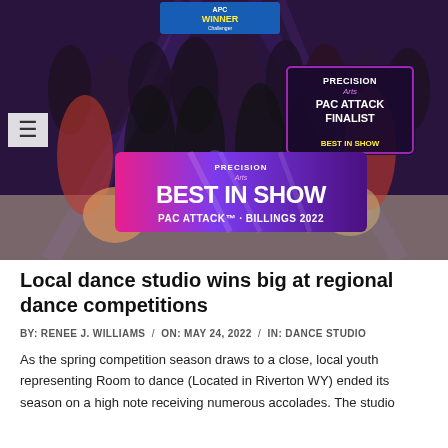[Figure (photo): Group photo of dance studio students holding a large banner reading 'BEST IN SHOW PAC ATTACK - BILLINGS 2022' by Precision Arts. A separate sign in the upper right reads 'PRECISION Arts PAC ATTACK FINALIST BEST IN SHOW'. Students are wearing black and red uniforms and holding trophies.]
Local dance studio wins big at regional dance competitions
BY: RENEE J. WILLIAMS / ON: MAY 24, 2022 / IN: DANCE STUDIO
As the spring competition season draws to a close, local youth representing Room to dance (Located in Riverton WY) ended its season on a high note receiving numerous accolades. The studio